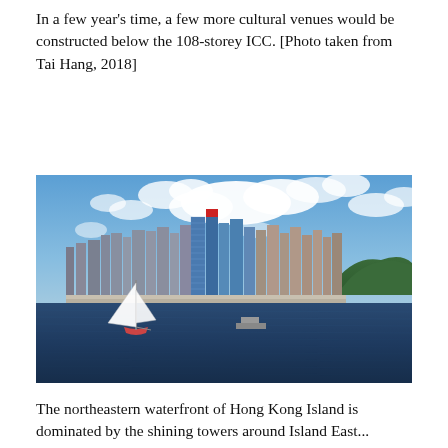In a few year's time, a few more cultural venues would be constructed below the 108-storey ICC. [Photo taken from Tai Hang, 2018]
[Figure (photo): Photo of the northeastern waterfront of Hong Kong Island (Kowloon side) taken from Tai Hang in 2018, showing a dense skyline of high-rise buildings along the harbor, a sailboat with white sails in the foreground on dark blue water, blue sky with white clouds above, and a green hill on the right.]
The northeastern waterfront of Hong Kong Island is dominated by the shining towers around Island East...